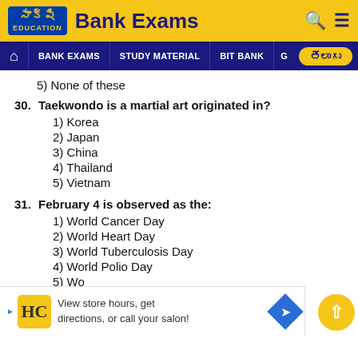Sakshi Education | Bank Exams
5) None of these
30. Taekwondo is a martial art originated in?
1) Korea
2) Japan
3) China
4) Thailand
5) Vietnam
31. February 4 is observed as the:
1) World Cancer Day
2) World Heart Day
3) World Tuberculosis Day
4) World Polio Day
5) Wo...
32. The P...